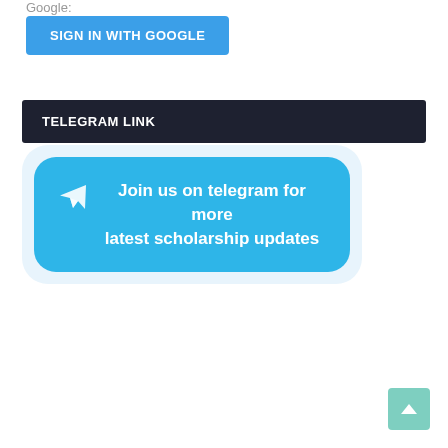Google:
[Figure (screenshot): Blue 'SIGN IN WITH GOOGLE' button]
TELEGRAM LINK
[Figure (infographic): Blue rounded button with Telegram paper-plane icon and text: Join us on telegram for more latest scholarship updates]
[Figure (other): Teal scroll-to-top arrow button in bottom right corner]